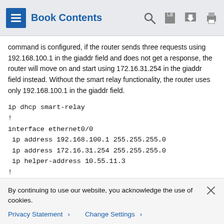Book Contents
command is configured, if the router sends three requests using 192.168.100.1 in the giaddr field and does not get a response, the router will move on and start using 172.16.31.254 in the giaddr field instead. Without the smart relay functionality, the router uses only 192.168.100.1 in the giaddr field.
ip dhcp smart-relay
!
interface ethernet0/0
 ip address 192.168.100.1 255.255.255.0
 ip address 172.16.31.254 255.255.255.0
 ip helper-address 10.55.11.3
!
Additional References
By continuing to use our website, you acknowledge the use of cookies.
Privacy Statement ›   Change Settings ›